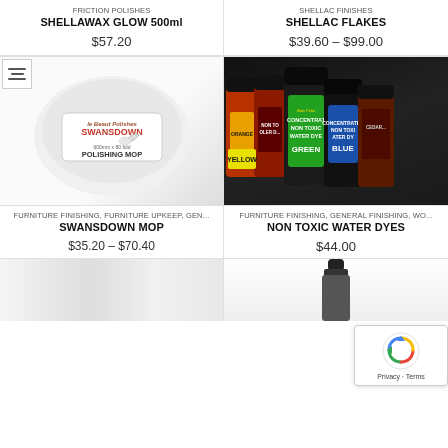FRICTION POLISHES
SHELLAWAX GLOW 500ml
$57.20
SHELLAC FINISHES
SHELLAC FLAKES
$39.60 – $99.00
[Figure (photo): White fluffy Swansdown polishing mop with label]
[Figure (photo): Multiple small bottles of concentrated non toxic water dyes in various colors including green, blue, yellow, orange]
FURNITURE FINISHING, FURNITURE UPKEEP, GEN...
SWANSDOWN MOP
$35.20 – $70.40
FURNITURE FINISHING, GENERAL FINISHING, WO...
NON TOXIC WATER DYES
$44.00
[Figure (photo): Bottom portion of product image, light colored item]
[Figure (photo): Bottom portion of product image, bottle with black lid]